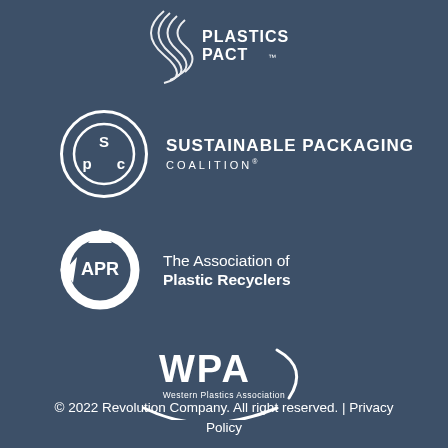[Figure (logo): US Plastics Pact logo — circular wave lines icon with text PLASTICS PACT]
[Figure (logo): Sustainable Packaging Coalition logo — circular SPC monogram with text SUSTAINABLE PACKAGING COALITION]
[Figure (logo): The Association of Plastic Recyclers (APR) logo — circular recycling arrows with APR text]
[Figure (logo): WPA Western Plastics Association logo — arc shape with WPA letters and subtitle]
© 2022 Revolution Company. All right reserved. | Privacy Policy